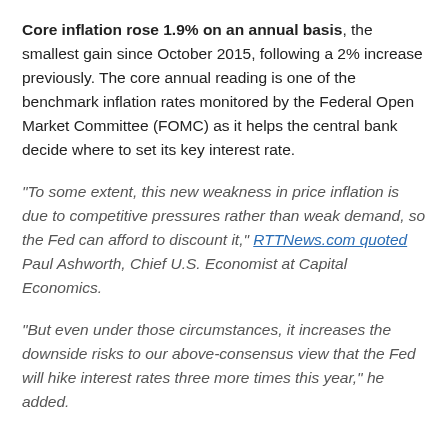Core inflation rose 1.9% on an annual basis, the smallest gain since October 2015, following a 2% increase previously. The core annual reading is one of the benchmark inflation rates monitored by the Federal Open Market Committee (FOMC) as it helps the central bank decide where to set its key interest rate.
"To some extent, this new weakness in price inflation is due to competitive pressures rather than weak demand, so the Fed can afford to discount it," RTTNews.com quoted Paul Ashworth, Chief U.S. Economist at Capital Economics.
"But even under those circumstances, it increases the downside risks to our above-consensus view that the Fed will hike interest rates three more times this year," he added.